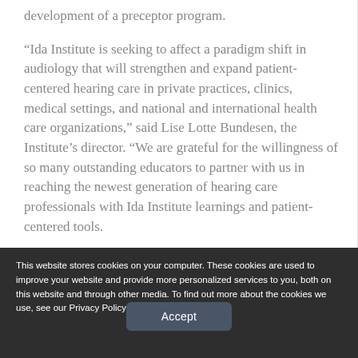development of a preceptor program.
“Ida Institute is seeking to affect a paradigm shift in audiology that will strengthen and expand patient-centered hearing care in private practices, clinics, medical settings, and national and international health care organizations,” said Lise Lotte Bundesen, the Institute’s director. “We are grateful for the willingness of so many outstanding educators to partner with us in reaching the newest generation of hearing care professionals with Ida Institute learnings and patient-centered tools.
This website stores cookies on your computer. These cookies are used to improve your website and provide more personalized services to you, both on this website and through other media. To find out more about the cookies we use, see our Privacy Policy.